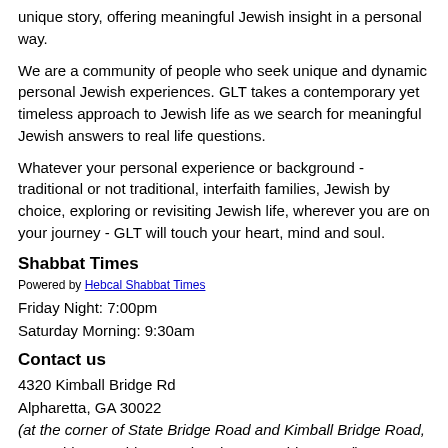unique story, offering meaningful Jewish insight in a personal way.
We are a community of people who seek unique and dynamic personal Jewish experiences. GLT takes a contemporary yet timeless approach to Jewish life as we search for meaningful Jewish answers to real life questions.
Whatever your personal experience or background - traditional or not traditional, interfaith families, Jewish by choice, exploring or revisiting Jewish life, wherever you are on your journey - GLT will touch your heart, mind and soul.
Shabbat Times
Powered by Hebcal Shabbat Times
Friday Night: 7:00pm
Saturday Morning: 9:30am
Contact us
4320 Kimball Bridge Rd
Alpharetta, GA 30022
(at the corner of State Bridge Road and Kimball Bridge Road, near Abbott's Bridge Road and Jones Bridge Road)